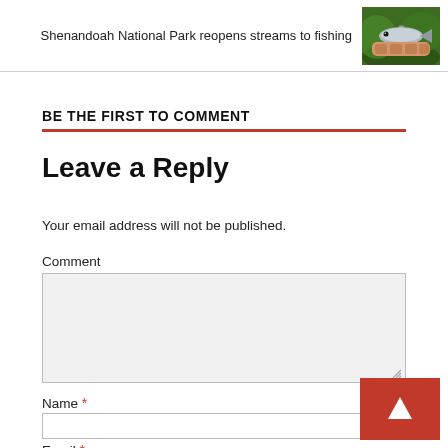Shenandoah National Park reopens streams to fishing
[Figure (photo): Small fish held in hands against green background]
BE THE FIRST TO COMMENT
Leave a Reply
Your email address will not be published.
Comment
Name *
Email *